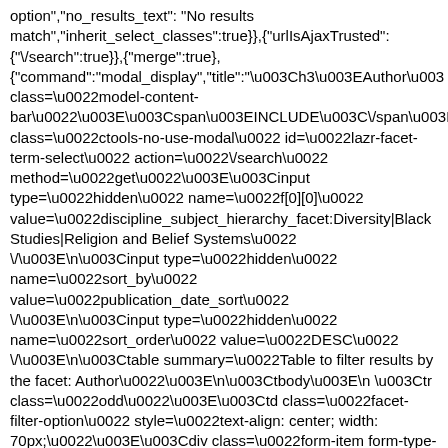option","no_results_text":"No results match","inherit_select_classes":true}},{"urlIsAjaxTrusted":{"\/search":true}},{"merge":true},{"command":"modal_display","title":"\u003Ch3\u003EAuthor\u003 class=\u0022model-content-bar\u0022\u003E\u003Cspan\u003EINCLUDE\u003C\/span\u003E\ class=\u0022ctools-no-use-modal\u0022 id=\u0022lazr-facet-term-select\u0022 action=\u0022\/search\u0022 method=\u0022get\u0022\u003E\u003Cinput type=\u0022hidden\u0022 name=\u0022f[0][0]\u0022 value=\u0022discipline_subject_hierarchy_facet:Diversity|Black Studies|Religion and Belief Systems\u0022 \/\u003E\n\u003Cinput type=\u0022hidden\u0022 name=\u0022sort_by\u0022 value=\u0022publication_date_sort\u0022 \/\u003E\n\u003Cinput type=\u0022hidden\u0022 name=\u0022sort_order\u0022 value=\u0022DESC\u0022 \/\u003E\n\u003Ctable summary=\u0022Table to filter results by the facet: Author\u0022\u003E\n\u003Ctbody\u003E\n \u003Ctr class=\u0022odd\u0022\u003E\u003Ctd class=\u0022facet-filter-option\u0022 style=\u0022text-align: center; width: 70px;\u0022\u003E\u003Cdiv class=\u0022form-item form-type-checkbox form-item-f-1-\u0022\u003E\n \u003Cinput type=\u0022checkbox\u0022 class=\u0022checkbox-with-label form-checkbox\u0022 id=\u0022chk-include-du-bois-william-edward-burghardt-18681963-du-bois-william-edward-burghardt-1868-1963-864768\u0022 name=\u0022f[1][]\u0022